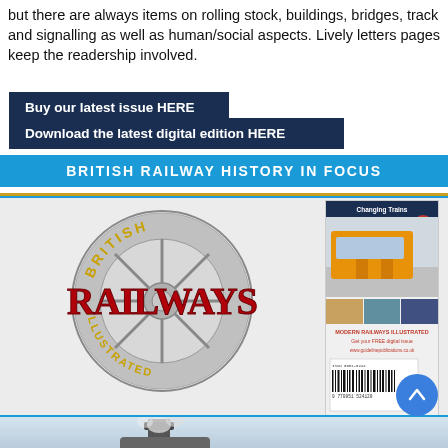but there are always items on rolling stock, buildings, bridges, track and signalling as well as human/social aspects. Lively letters pages keep the readership involved.
Buy our latest issue HERE
Download the latest digital edition HERE
BRITISH RAILWAY HISTORY IN FOCUS
[Figure (illustration): British Railways Illustrated magazine cover with circular wheel logo showing 'BRITISH RAILWAYS ILLUSTRATED' in red and gold lettering on a grey wheel background]
Vol.31 No.12 September 2022 Price: £5.50
[Figure (photo): Small magazine cover thumbnail showing Modern Railways Illustrated with a yellow/orange train at a station platform. Includes 'Changing Trains' heading, barcode, and 'MODERN RAILWAYS ILLUSTRATED Get your FREE digital issue www.guidelinepublications.co.uk' text in red]
[Figure (photo): Bottom partial view of a steam locomotive chimney/funnel against a light blue/grey sky background]